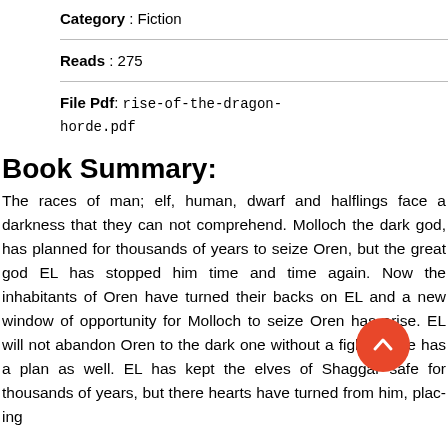Category: Fiction
Reads: 275
File Pdf: rise-of-the-dragon-horde.pdf
Book Summary:
The races of man; elf, human, dwarf and halflings face a darkness that they can not comprehend. Molloch the dark god, has planned for thousands of years to seize Oren, but the great god EL has stopped him time and time again. Now the inhabitants of Oren have turned their backs on EL and a new window of opportunity for Molloch to seize Oren has arise. EL will not abandon Oren to the dark one without a fight, as he has a plan as well. EL has kept the elves of Shaggar safe for thousands of years, but there hearts have turned from him, placing...